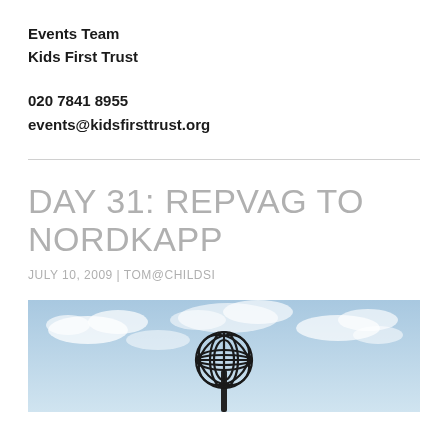Events Team
Kids First Trust
020 7841 8955
events@kidsfirsttrust.org
DAY 31: REPVAG TO NORDKAPP
JULY 10, 2009 | TOM@CHILDSI
[Figure (photo): Photo of globe sculpture (Nordkapp globe) against a blue cloudy sky]